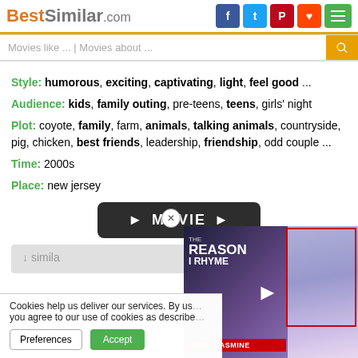BestSimilar.com
Movies like ... | Movies about ...
Style: humorous, exciting, captivating, light, feel good ...
Audience: kids, family outing, pre-teens, teens, girls' night
Plot: coyote, family, farm, animals, talking animals, countryside, pig, chicken, best friends, leadership, friendship, odd couple ...
Time: 2000s
Place: new jersey
[Figure (screenshot): Dark rounded button with play arrows and MOVIE text]
similar
Cookies help us deliver our services. By using our services, you agree to our use of cookies as described
[Figure (screenshot): Video thumbnail for 'The Reason I Rhyme' featuring Abby Jasmine]